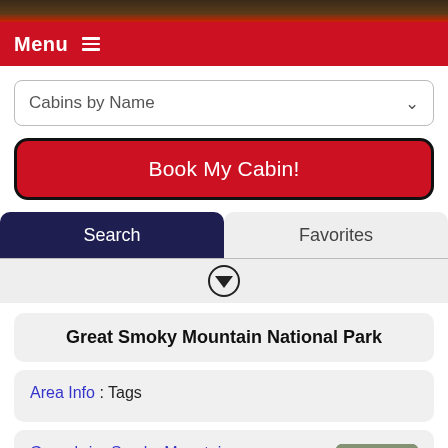[Figure (photo): Dark photo strip at top of page]
Menu ≡
Cabins by Name
Book My Cabin!
Search | Favorites
[Figure (other): Down arrow icon in circle]
Great Smoky Mountain National Park
Area Info : Tags
Greenbriar Smoky Mountains
Discover the beauty of the Smo…